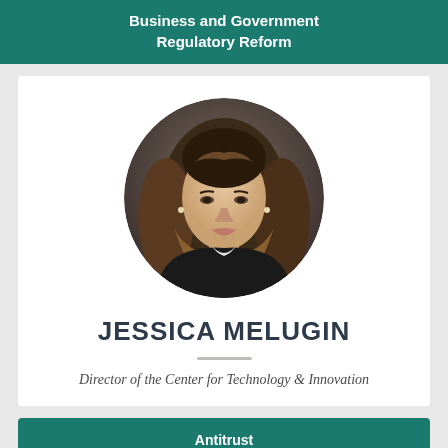Business and Government Regulatory Reform
[Figure (photo): Circular professional headshot of Jessica Melugin, a woman with long brown ombre hair, wearing a dark jacket with white collar, against a grey background.]
JESSICA MELUGIN
Director of the Center for Technology & Innovation
Antitrust Innovation